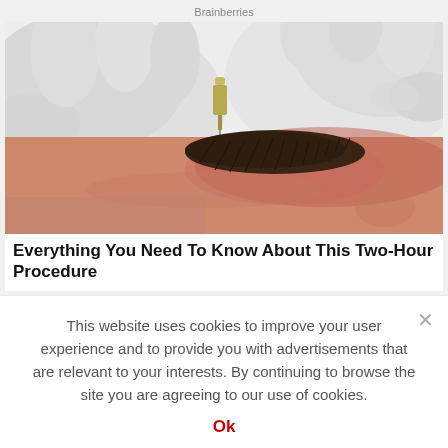Brainberries
[Figure (photo): Close-up of a medical professional wearing white latex gloves performing a microblading or permanent makeup procedure on a person's eyebrow using a small tool.]
Everything You Need To Know About This Two-Hour Procedure
This website uses cookies to improve your user experience and to provide you with advertisements that are relevant to your interests. By continuing to browse the site you are agreeing to our use of cookies.
Ok